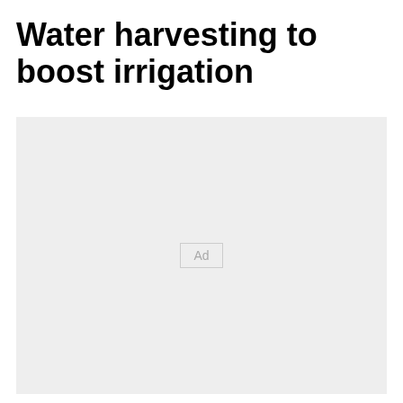Water harvesting to boost irrigation
[Figure (other): Advertisement placeholder box with 'Ad' label in the center]